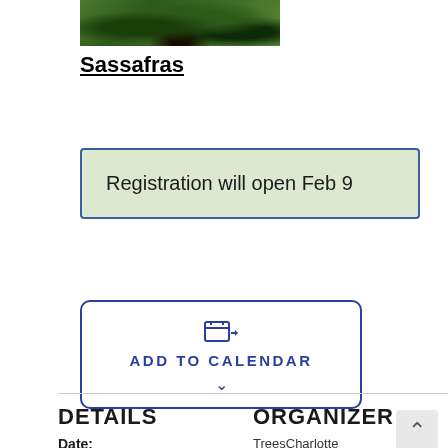[Figure (photo): Photo of sassafras tree with green leaves and dark berries/fruits]
Sassafras
Registration will open Feb 9
ADD TO CALENDAR
DETAILS
ORGANIZER
Date:
Februar
TreesCharlotte